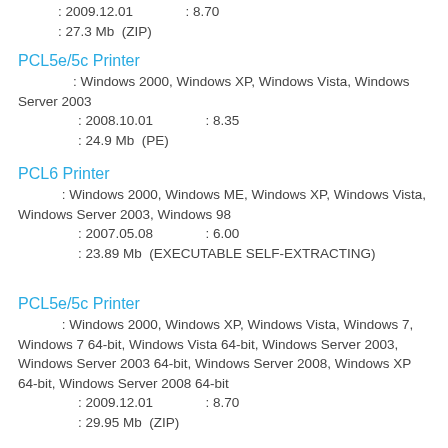: 2009.12.01              : 8.70
: 27.3 Mb  (ZIP)
PCL5e/5c Printer
: Windows 2000, Windows XP, Windows Vista, Windows Server 2003
: 2008.10.01              : 8.35
: 24.9 Mb  (PE)
PCL6 Printer
: Windows 2000, Windows ME, Windows XP, Windows Vista, Windows Server 2003, Windows 98
: 2007.05.08              : 6.00
: 23.89 Mb  (EXECUTABLE SELF-EXTRACTING)
PCL5e/5c Printer
: Windows 2000, Windows XP, Windows Vista, Windows 7, Windows 7 64-bit, Windows Vista 64-bit, Windows Server 2003, Windows Server 2003 64-bit, Windows Server 2008, Windows XP 64-bit, Windows Server 2008 64-bit
: 2009.12.01              : 8.70
: 29.95 Mb  (ZIP)